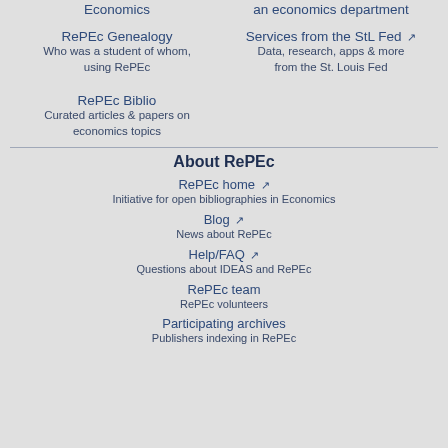Economics
an economics department
RePec Genealogy
Who was a student of whom, using RePEc
Services from the StL Fed
Data, research, apps & more from the St. Louis Fed
RePEc Biblio
Curated articles & papers on economics topics
About RePEc
RePEc home
Initiative for open bibliographies in Economics
Blog
News about RePEc
Help/FAQ
Questions about IDEAS and RePEc
RePEc team
RePEc volunteers
Participating archives
Publishers indexing in RePEc